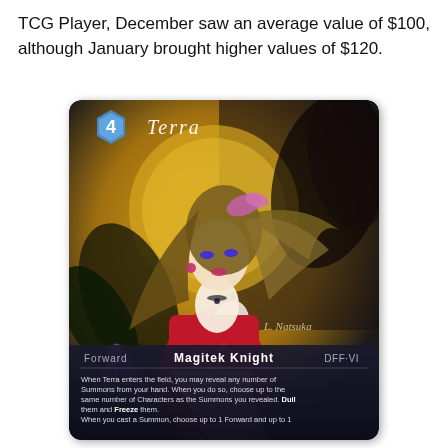TCG Player, December saw an average value of $100, although January brought higher values of $120.
[Figure (photo): Final Fantasy Trading Card Game card featuring Terra, a Magitek Knight (Forward type), cost 4 ice crystal. Artwork shows a young woman with long flowing brown hair in a red dress. Card text reads: When Terra enters the field, you may reveal any number of Summons from your hand. When you do so, choose up to the same number of Characters as the Summons you revealed. Dull them and Freeze them. When you cast a Summon, choose up to 1 Forward and up to 1... Card ID: DFF-VI. Illustrated by L. Natsuka.]